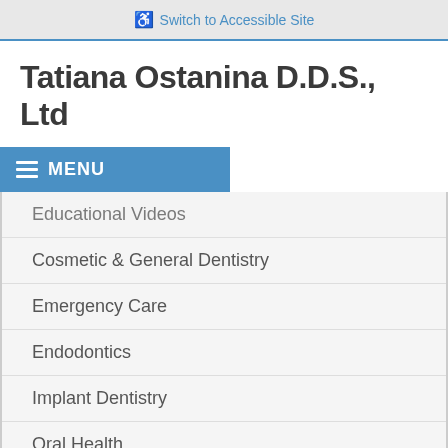Switch to Accessible Site
Tatiana Ostanina D.D.S., Ltd
MENU
Educational Videos
Cosmetic & General Dentistry
Emergency Care
Endodontics
Implant Dentistry
Oral Health
Oral Hygiene
Oral Surgery